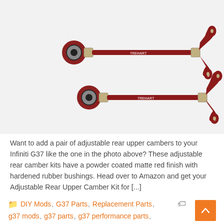[Figure (photo): Two red powder-coated adjustable rear upper camber arms/links with rubber bushings on one end and forked mounts on the other end, branded TRE Hart.]
Want to add a pair of adjustable rear upper cambers to your Infiniti G37 like the one in the photo above? These adjustable rear camber kits have a powder coated matte red finish with hardened rubber bushings. Head over to Amazon and get your Adjustable Rear Upper Camber Kit for [...]
DIY Mods, G37 Parts, Replacement Parts,
g37 mods, g37 parts, g37 performance parts,